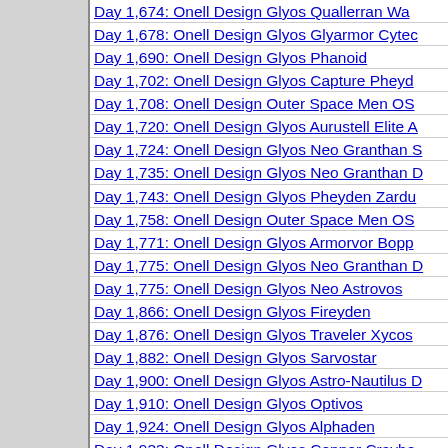Day 1,674: Onell Design Glyos Quallerran Wa...
Day 1,678: Onell Design Glyos Glyarmor Cytec...
Day 1,690: Onell Design Glyos Phanoid
Day 1,702: Onell Design Glyos Capture Pheyd...
Day 1,708: Onell Design Outer Space Men OS...
Day 1,720: Onell Design Glyos Aurustell Elite A...
Day 1,724: Onell Design Glyos Neo Granthan ...
Day 1,735: Onell Design Glyos Neo Granthan D...
Day 1,743: Onell Design Glyos Pheyden Zardu...
Day 1,758: Onell Design Outer Space Men OS...
Day 1,771: Onell Design Glyos Armorvor Bopp...
Day 1,775: Onell Design Glyos Neo Granthan D...
Day 1,775: Onell Design Glyos Neo Astrovos
Day 1,866: Onell Design Glyos Fireyden
Day 1,876: Onell Design Glyos Traveler Xycos...
Day 1,882: Onell Design Glyos Sarvostar
Day 1,900: Onell Design Glyos Astro-Nautilus D...
Day 1,910: Onell Design Glyos Optivos
Day 1,924: Onell Design Glyos Alphaden
Day 1,933: Onell Design Glyos Copper Craybo...
Day 1,944: Onell Design Glyos Piloden
Day 1,958: Onell Design Glyos Glyninja Ukoro...
Day 1,977: Onell Design Glyos Glyrecon Action...
Day 1,993: Onell Design Glyos Retro Altrovos
Day 2,004: Onell Design Glyos Vlixden